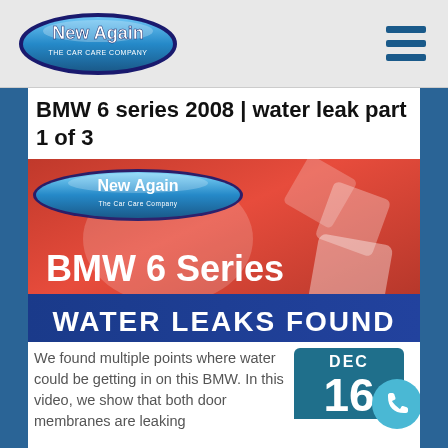New Again – The Car Care Company (logo) | Navigation hamburger menu
BMW 6 series 2008 | water leak part 1 of 3
[Figure (photo): Thumbnail image showing a red BMW engine bay background with 'New Again – The Car Care Company' logo in upper left, text 'BMW 6 Series' in white, and banner at bottom reading 'WATER LEAKS FOUND' in white on blue background]
We found multiple points where water could be getting in on this BMW. In this video, we show that both door membranes are leaking
[Figure (infographic): Date badge showing DEC 16 in teal/dark blue, with a phone icon circle overlay in light blue]